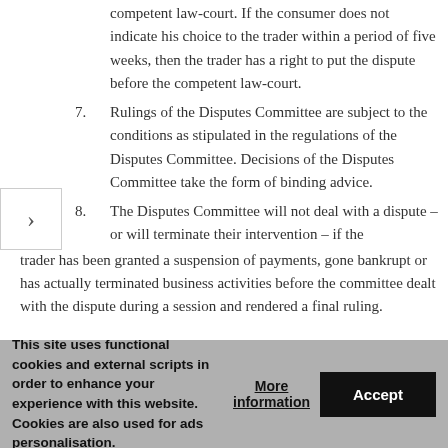competent law-court. If the consumer does not indicate his choice to the trader within a period of five weeks, then the trader has a right to put the dispute before the competent law-court.
7. Rulings of the Disputes Committee are subject to the conditions as stipulated in the regulations of the Disputes Committee. Decisions of the Disputes Committee take the form of binding advice.
8. The Disputes Committee will not deal with a dispute – or will terminate their intervention – if the trader has been granted a suspension of payments, gone bankrupt or has actually terminated business activities before the committee dealt with the dispute during a session and rendered a final ruling.
This site uses functional cookies and external scripts in order to enhance your experience with this website. Cookies are also used for ads personalisation.